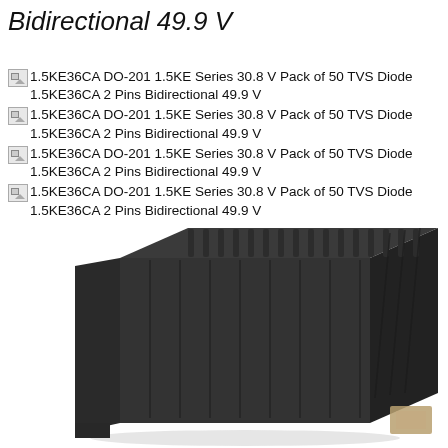Bidirectional 49.9 V
1.5KE36CA DO-201 1.5KE Series 30.8 V Pack of 50 TVS Diode 1.5KE36CA 2 Pins Bidirectional 49.9 V
1.5KE36CA DO-201 1.5KE Series 30.8 V Pack of 50 TVS Diode 1.5KE36CA 2 Pins Bidirectional 49.9 V
1.5KE36CA DO-201 1.5KE Series 30.8 V Pack of 50 TVS Diode 1.5KE36CA 2 Pins Bidirectional 49.9 V
1.5KE36CA DO-201 1.5KE Series 30.8 V Pack of 50 TVS Diode 1.5KE36CA 2 Pins Bidirectional 49.9 V
[Figure (photo): Black rectangular TVS diode component pack (DO-201 package), showing a black plastic rectangular block with ridged top surface and side grooves, viewed from a three-quarter angle. A small brownish label is visible at the bottom right.]